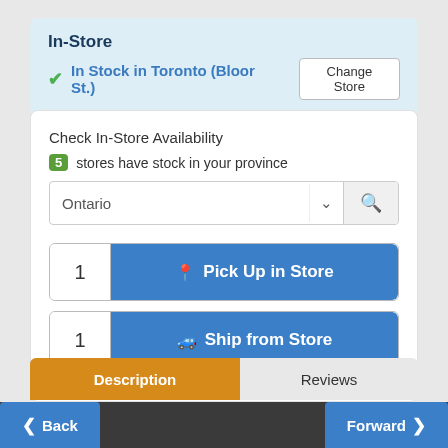In-Store
✓ In Stock in Toronto (Bloor St.)
Check In-Store Availability
5 stores have stock in your province
Ontario
1  Pick Up in Store
1  Ship from Store
Description
Reviews
◀ Back   Forward ▶